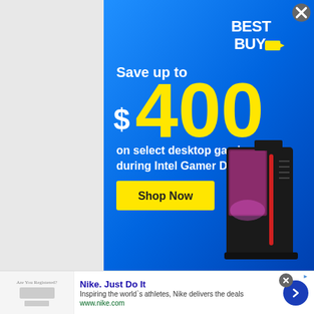[Figure (infographic): Best Buy advertisement banner with blue gradient background. Shows 'BEST BUY' logo in top right, large text 'Save up to $400 on select desktop gaming PCs during Intel Gamer Days.' with a yellow 'Shop Now' button. Features a gaming PC tower with RGB lighting on the right side.]
Nike. Just Do It
Inspiring the world's athletes, Nike delivers the deals
www.nike.com